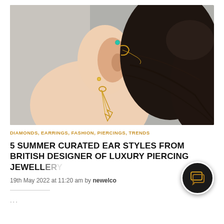[Figure (photo): Close-up photograph of a woman's ear adorned with multiple gold earrings and a teal ear cuff, with long dark hair pulled back, against a grey background.]
DIAMONDS, EARRINGS, FASHION, PIERCINGS, TRENDS
5 SUMMER CURATED EAR STYLES FROM BRITISH DESIGNER OF LUXURY PIERCING JEWELLERY
19th May 2022 at 11:20 am by newelco
...